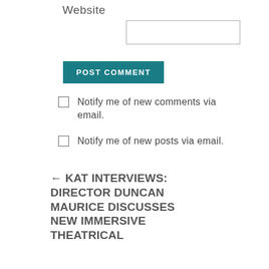Website
POST COMMENT
Notify me of new comments via email.
Notify me of new posts via email.
← KAT INTERVIEWS: DIRECTOR DUNCAN MAURICE DISCUSSES NEW IMMERSIVE THEATRICAL